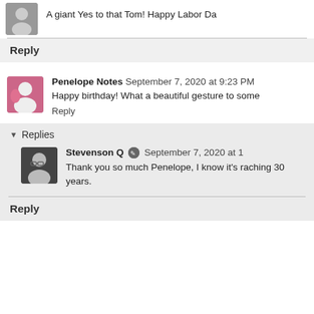A giant Yes to that Tom! Happy Labor Da
Reply
Penelope Notes  September 7, 2020 at 9:23 PM
Happy birthday! What a beautiful gesture to some
Reply
▾ Replies
Stevenson Q  September 7, 2020 at 1
Thank you so much Penelope, I know it's raching 30 years.
Reply